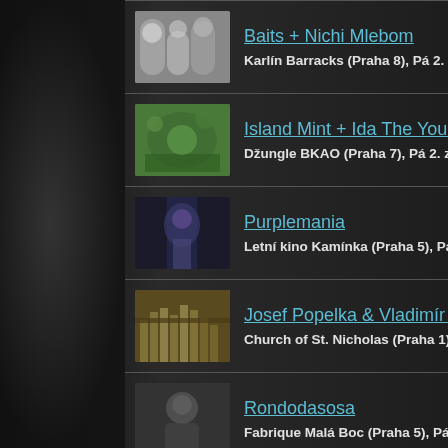Baits + Nichi Mlebom
Karlín Barracks (Praha 8), Pá 2. září 19:30
Island Mint + Ida The Young
Džungle BKAO (Praha 7), Pá 2. září 20:00
Purplemania
Letní kino Kamínka (Praha 5), Pá 2. září 19:30
Josef Popelka & Vladimír Frank
Church of St. Nicholas (Praha 1), Pá 2. září 18…
Rondodasosa
Fabrique Malá Boc (Praha 5), Pá 2. září 21…